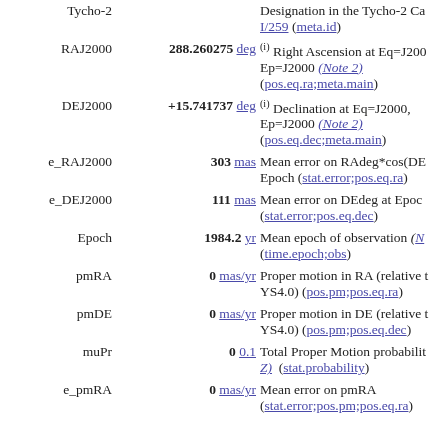| Field | Value | Description |
| --- | --- | --- |
| Tycho-2 |  | Designation in the Tycho-2 Cat I/259 (meta.id) |
| RAJ2000 | 288.260275 deg | (i) Right Ascension at Eq=J2000, Ep=J2000 (Note 2) (pos.eq.ra;meta.main) |
| DEJ2000 | +15.741737 deg | (i) Declination at Eq=J2000, Ep=J2000 (Note 2) (pos.eq.dec;meta.main) |
| e_RAJ2000 | 303 mas | Mean error on RAdeg*cos(DE) at Epoch (stat.error;pos.eq.ra) |
| e_DEJ2000 | 111 mas | Mean error on DEdeg at Epoch (stat.error;pos.eq.dec) |
| Epoch | 1984.2 yr | Mean epoch of observation (No (time.epoch;obs) |
| pmRA | 0 mas/yr | Proper motion in RA (relative to YS4.0) (pos.pm;pos.eq.ra) |
| pmDE | 0 mas/yr | Proper motion in DE (relative to YS4.0) (pos.pm;pos.eq.dec) |
| muPr | 0 0.1 | Total Proper Motion probability (stat.probability) |
| e_pmRA | 0 mas/yr | Mean error on pmRA (stat.error;pos.pm;pos.eq.ra) |